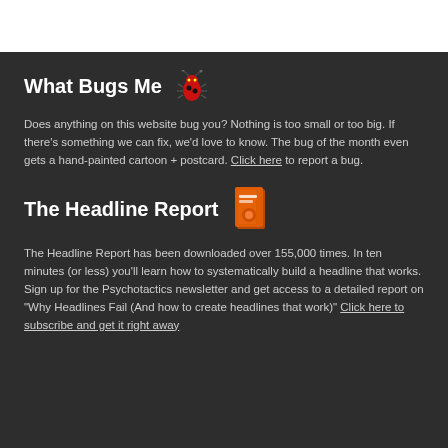What Bugs Me
Does anything on this website bug you? Nothing is too small or too big. If there's something we can fix, we'd love to know. The bug of the month even gets a hand-painted cartoon + postcard. Click here to report a bug.
The Headline Report
The Headline Report has been downloaded over 155,000 times. In ten minutes (or less) you'll learn how to systematically build a headline that works. Sign up for the Psychotactics newsletter and get access to a detailed report on "Why Headlines Fail (And how to create headlines that work)" Click here to subscribe and get it right away